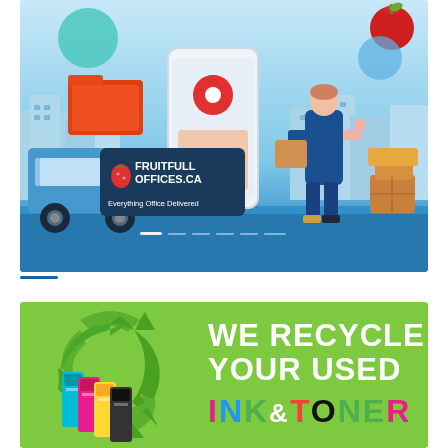[Figure (illustration): Fruitfull Offices.ca banner advertisement showing a delivery truck, smartphone with map pin, delivery person holding a box, office folder icon, apple icon, and the company logo with text 'FRUITFULL OFFICES.ca - Everything Office Delivered' on a blue gradient background with city skyline.]
[Figure (illustration): Green recycling banner with large recycling arrows symbol, colorful ink cartridges (cyan, magenta, yellow, black), and text 'WE RECYCLE YOUR USED INK & TONER' where INK&TONER letters are in different colors on a bright green background.]